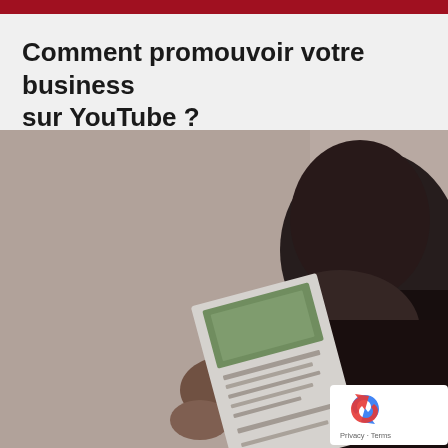Comment promouvoir votre business sur YouTube ?
[Figure (photo): A person seen from behind, holding and reading a brochure or document. The background is a light grey-beige wall.]